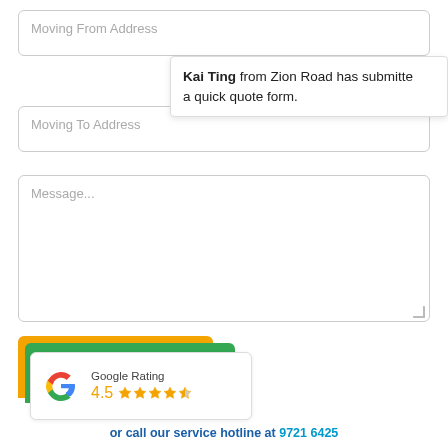Moving From Address
Kai Ting from Zion Road has submitted a quick quote form.
Moving To Address
Message...
[Figure (infographic): Google Rating card showing 4.5 stars, with orange and green background tabs visible behind the white card. The Google 'G' logo is on the left, 'Google Rating' label above, '4.5' and 4 full stars plus 1 half star shown in orange/gold.]
or call our service hotline at 9721 6425